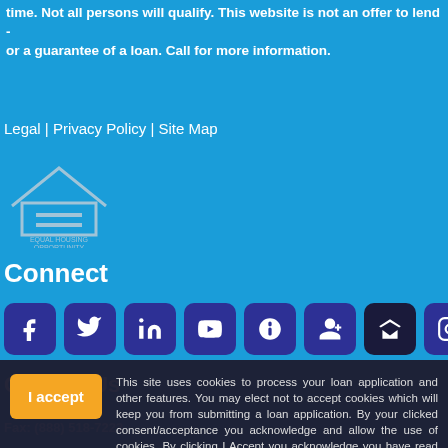time. Not all persons will qualify. This website is not an offer to lend - or a guarantee of a loan. Call for more information.
Legal | Privacy Policy | Site Map
[Figure (logo): Equal Housing Opportunity logo — house outline with equals sign inside, text 'EQUAL HOUSING OPPORTUNITY' below]
Connect
[Figure (infographic): Row of social media icon buttons: Facebook, Twitter, LinkedIn, YouTube, Yelp, Google+, Zillow, Instagram — all dark blue rounded squares with white icons]
Contact Us
I accept  This site uses cookies to process your loan application and other features. You may elect not to accept cookies which will keep you from submitting a loan application. By your clicked consent/acceptance you acknowledge and allow the use of cookies. By clicking I Accept you acknowledge you have read and understand Leigh McMahon's Privacy Policy.
Fax: (888) 518-7223